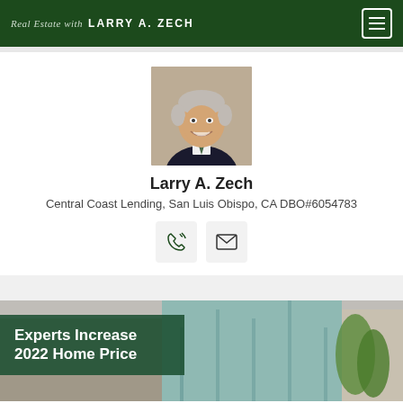Real Estate with  LARRY A. ZECH
[Figure (photo): Headshot of Larry A. Zech, a smiling middle-aged man with grey hair wearing a dark suit and tie, photographed outdoors.]
Larry A. Zech
Central Coast Lending, San Luis Obispo, CA DBO#6054783
[Figure (infographic): Two contact icon buttons: a phone icon and an email/envelope icon.]
Experts Increase 2022 Home Price